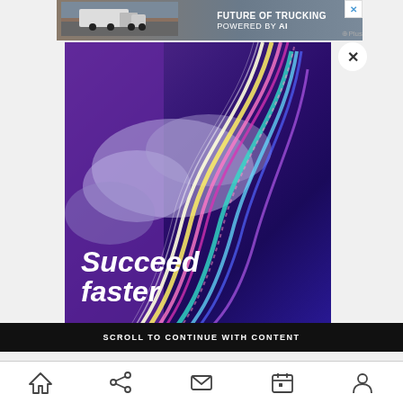[Figure (screenshot): Advertisement banner for trucking AI product showing a truck in desert landscape with text 'FUTURE OF TRUCKING POWERED BY AI' and a close X button. Below is a main full-screen advertisement with purple/blue background, colorful light streaks, clouds, and text 'Succeed faster'. A black bar reads 'SCROLL TO CONTINUE WITH CONTENT'. Bottom navigation bar with home, share, mail, calendar, and profile icons.]